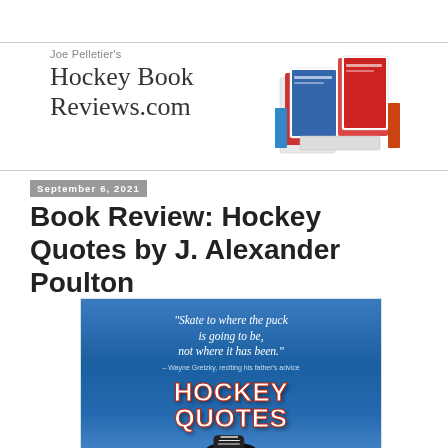[Figure (logo): Joe Pelletier's Hockey Book Reviews.com logo with stacked hockey books image on the right]
September 6, 2021
Book Review: Hockey Quotes by J. Alexander Poulton
[Figure (photo): Book cover of Hockey Quotes showing a quote: 'Skate to where the puck is going to be, not where it has been.' - Wayne Gretzky, reciting his father's advice. The cover shows 'HOCKEY QUOTES' in large bold red and white text on a blue background with a hockey skate at the bottom.]